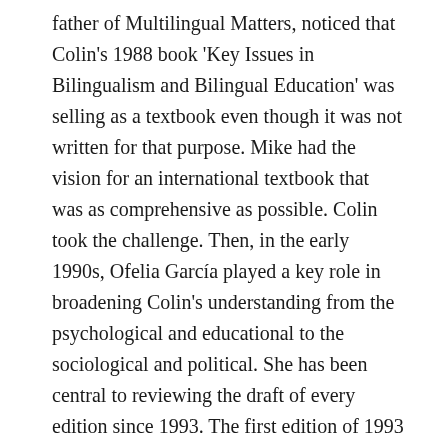father of Multilingual Matters, noticed that Colin's 1988 book 'Key Issues in Bilingualism and Bilingual Education' was selling as a textbook even though it was not written for that purpose. Mike had the vision for an international textbook that was as comprehensive as possible. Colin took the challenge. Then, in the early 1990s, Ofelia García played a key role in broadening Colin's understanding from the psychological and educational to the sociological and political. She has been central to reviewing the draft of every edition since 1993. The first edition of 1993 and the subsequent editions in 1996, 2001, 2006 and 2011, sold well particularly in the United States, but also with sales in almost every country of the world. Mike's vision has been fulfilled.